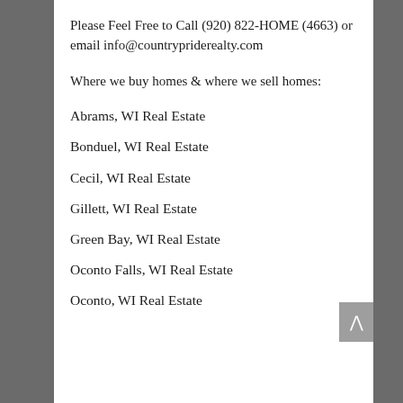Please Feel Free to Call (920) 822-HOME (4663) or email info@countrypriderealty.com
Where we buy homes & where we sell homes:
Abrams, WI Real Estate
Bonduel, WI Real Estate
Cecil, WI Real Estate
Gillett, WI Real Estate
Green Bay, WI Real Estate
Oconto Falls, WI Real Estate
Oconto, WI Real Estate